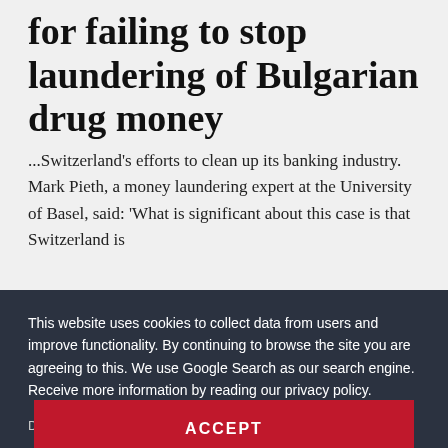for failing to stop laundering of Bulgarian drug money
...Switzerland's efforts to clean up its banking industry. Mark Pieth, a money laundering expert at the University of Basel, said: 'What is significant about this case is that Switzerland is
This website uses cookies to collect data from users and improve functionality. By continuing to browse the site you are agreeing to this. We use Google Search as our search engine. Receive more information by reading our privacy policy.
Data protection
ACCEPT